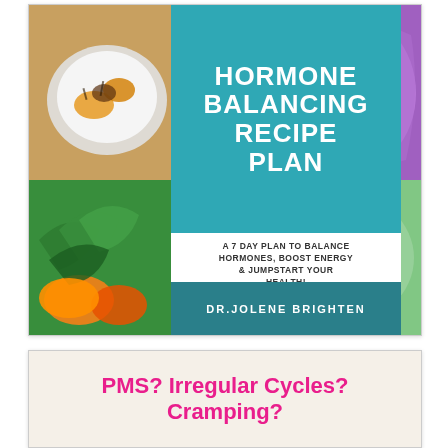[Figure (illustration): Book cover for 'Hormone Balancing Recipe Plan' by Dr. Jolene Brighten. Teal center panel with white title text, surrounded by four food photography panels (plated dish top-left, purple cabbage top-right, vegetables bottom-left, salad bottom-right). Subtitle: 'A 7 Day Plan to Balance Hormones, Boost Energy & Jumpstart Your Health!'. Author name in darker teal band at bottom.]
PMS? Irregular Cycles? Cramping?